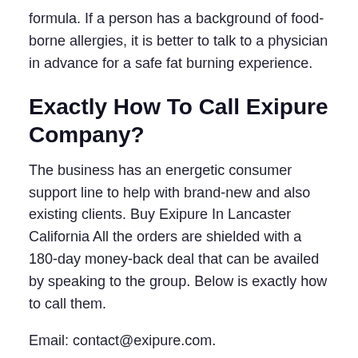formula. If a person has a background of food-borne allergies, it is better to talk to a physician in advance for a safe fat burning experience.
Exactly How To Call Exipure Company?
The business has an energetic consumer support line to help with brand-new and also existing clients. Buy Exipure In Lancaster California All the orders are shielded with a 180-day money-back deal that can be availed by speaking to the group. Below is exactly how to call them.
Email: contact@exipure.com.